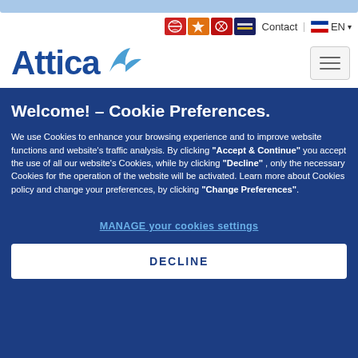[Figure (screenshot): Top navigation bar with Attica logo, brand icons (Superfast, Anek, others), Contact link, EN language selector, and hamburger menu button]
Welcome! – Cookie Preferences.
We use Cookies to enhance your browsing experience and to improve website functions and website's traffic analysis. By clicking "Accept & Continue" you accept the use of all our website's Cookies, while by clicking "Decline" , only the necessary Cookies for the operation of the website will be activated. Learn more about Cookies policy and change your preferences, by clicking "Change Preferences".
MANAGE your cookies settings
DECLINE